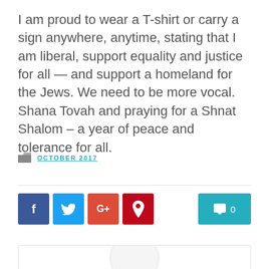I am proud to wear a T-shirt or carry a sign anywhere, anytime, stating that I am liberal, support equality and justice for all — and support a homeland for the Jews. We need to be more vocal. Shana Tovah and praying for a Shnat Shalom – a year of peace and tolerance for all.
OCTOBER 2017
[Figure (other): Social sharing buttons: Facebook (blue), Twitter (light blue), Google+ (red-orange), Pinterest (dark red), and a teal comment button showing 0 comments]
[Figure (other): Bottom navigation card area with circular avatar placeholder]